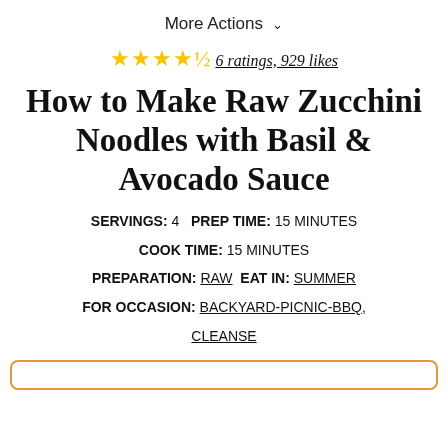More Actions ▾
★★★★½ 6 ratings, 929 likes
How to Make Raw Zucchini Noodles with Basil & Avocado Sauce
SERVINGS: 4  PREP TIME: 15 MINUTES
COOK TIME: 15 MINUTES
PREPARATION: RAW  EAT IN: SUMMER
FOR OCCASION: BACKYARD-PICNIC-BBQ, CLEANSE